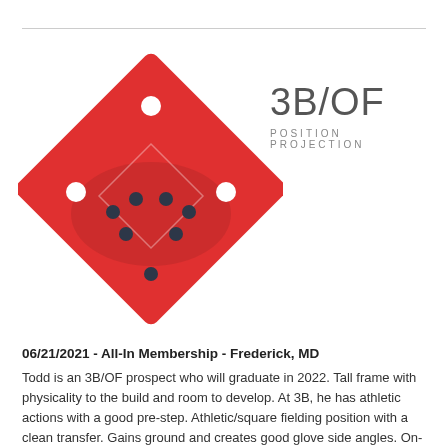[Figure (infographic): Baseball diamond diagram shown as a red rotated square (diamond shape) with white dots at the outfield corners and center-top, a lighter red semicircle representing the infield dirt, dark navy dots marking the infield positions arranged in a diamond pattern with a bottom point, and a smaller diamond outline inside.]
3B/OF
POSITION PROJECTION
06/21/2021 - All-In Membership - Frederick, MD
Todd is an 3B/OF prospect who will graduate in 2022. Tall frame with physicality to the build and room to develop. At 3B, he has athletic actions with a good pre-step. Athletic/square fielding position with a clean transfer. Gains ground and creates good glove side angles. On-line throws from multiple arm slots with an arm velocity of 83mph. Showed good footwork on slow rollers. In the OF, showing good instincts and good reads off bat. Good